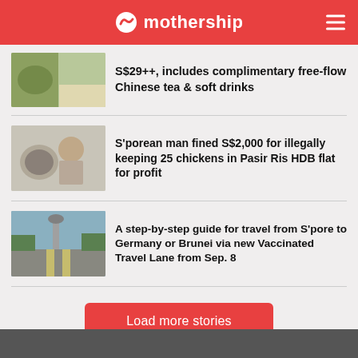mothership
S$29++, includes complimentary free-flow Chinese tea & soft drinks
S'porean man fined S$2,000 for illegally keeping 25 chickens in Pasir Ris HDB flat for profit
A step-by-step guide for travel from S'pore to Germany or Brunei via new Vaccinated Travel Lane from Sep. 8
Load more stories